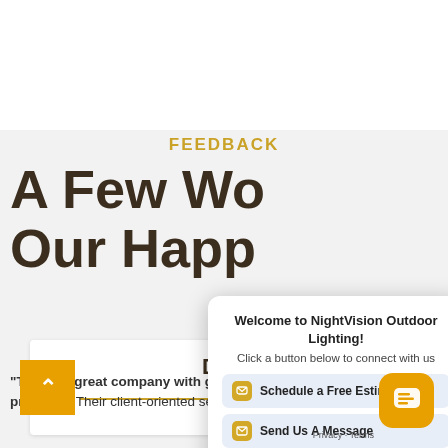FEEDBACK
A Few Wo... Our Happ...
[Figure (screenshot): Chat popup widget with title 'Welcome to NightVision Outdoor Lighting!', subtitle 'Click a button below to connect with us', and three buttons: 'Schedule a Free Estimate', 'Send Us A Message', 'Give Us A Call']
DIA... Atlanta...
"This is a great company with great service, g... products! Their client-oriented service is hard to find."